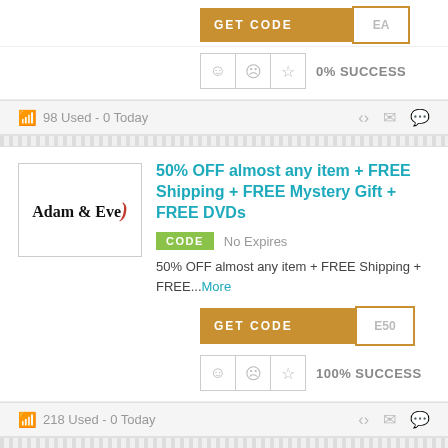[Figure (screenshot): GET CODE button (amber/gold color) with partial code text 'EA' on right side]
0% SUCCESS
98 Used - 0 Today
[Figure (logo): Adam & Eve logo in a bordered box]
50% OFF almost any item + FREE Shipping + FREE Mystery Gift + FREE DVDs
CODE  No Expires
50% OFF almost any item + FREE Shipping + FREE...More
[Figure (screenshot): GET CODE button with code 'E50' on right side]
100% SUCCESS
218 Used - 0 Today
50% discount on ANY SINGLE ITEM